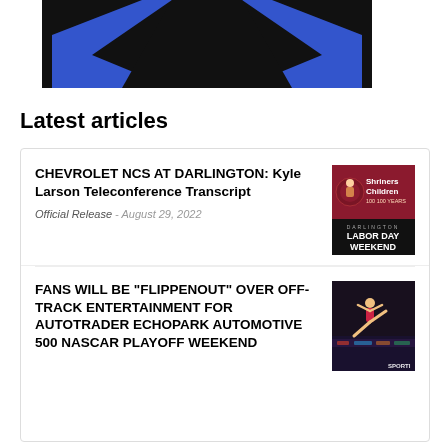[Figure (logo): NASCAR or sports media logo — dark background with blue angular chevron/wing shape]
Latest articles
CHEVROLET NCS AT DARLINGTON: Kyle Larson Teleconference Transcript
Official Release - August 29, 2022
[Figure (photo): Shriners Children's 100 Years - Darlington Labor Day Weekend event graphic/logo]
FANS WILL BE “FLIPPENOUT” OVER OFF-TRACK ENTERTAINMENT FOR AUTOTRADER ECHOPARK AUTOMOTIVE 500 NASCAR PLAYOFF WEEKEND
[Figure (photo): Sports/gymnastics action photo at an arena, SPORTI watermark visible]